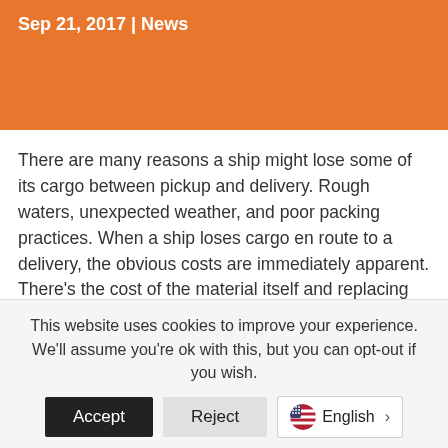Sep 21, 2017 | News
There are many reasons a ship might lose some of its cargo between pickup and delivery. Rough waters, unexpected weather, and poor packing practices. When a ship loses cargo en route to a delivery, the obvious costs are immediately apparent. There's the cost of the material itself and replacing that material. There's also the cost of a broken contract if the goods are not
This website uses cookies to improve your experience. We'll assume you're ok with this, but you can opt-out if you wish.